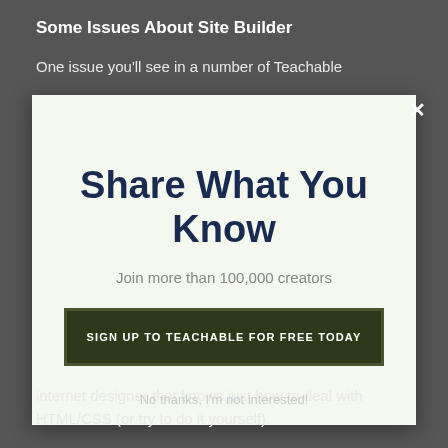Some Issues About Site Builder
One issue you'll see in a number of Teachable
[Figure (screenshot): A modal popup overlay with light green-white background containing the title 'Share What You Know', subtitle 'Join more than 100,000 creators', and a dark olive call-to-action button labeled 'SIGN UP TO TEACHABLE FOR FREE TODAY'. A white X close button appears in the top right corner of the background.]
No thanks, I'm not interested!
internet designer that knows just how to deal with HTML/CSS (or try to do it yourself).